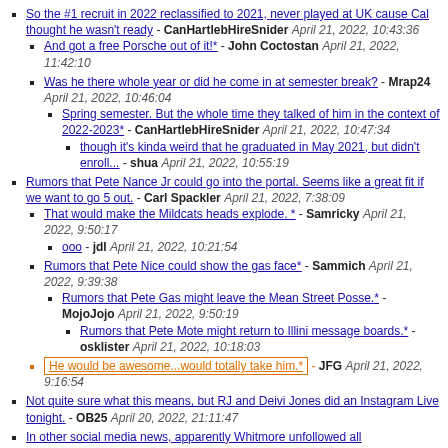So the #1 recruit in 2022 reclassified to 2021, never played at UK cause Cal thought he wasn't ready - CanHartlebHireSnider April 21, 2022, 10:43:36
And got a free Porsche out of it!* - John Coctostan April 21, 2022, 11:42:10
Was he there whole year or did he come in at semester break? - Mrap24 April 21, 2022, 10:46:04
Spring semester. But the whole time they talked of him in the context of 2022-2023* - CanHartlebHireSnider April 21, 2022, 10:47:34
though it's kinda weird that he graduated in May 2021, but didn't enroll... - shua April 21, 2022, 10:55:19
Rumors that Pete Nance Jr could go into the portal. Seems like a great fit if we want to go 5 out. - Carl Spackler April 21, 2022, 7:38:09
That would make the Mildcats heads explode. * - Samricky April 21, 2022, 9:50:17
ooo - jdl April 21, 2022, 10:21:54
Rumors that Pete Nice could show the gas face* - Sammich April 21, 2022, 9:39:38
Rumors that Pete Gas might leave the Mean Street Posse.* - MojoJojo April 21, 2022, 9:50:19
Rumors that Pete Mote might return to Illini message boards.* - osklister April 21, 2022, 10:18:03
He would be awesome...would totally take him.* - JFG April 21, 2022, 9:16:54
Not quite sure what this means, but RJ and Deivi Jones did an Instagram Live tonight. - OB25 April 20, 2022, 21:11:47
In other social media news, apparently Whitmore unfollowed all